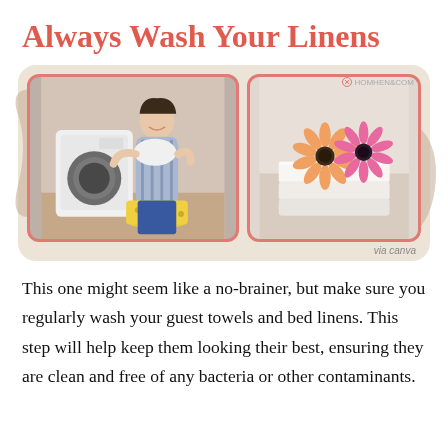Always Wash Your Linens
[Figure (photo): Two photos side by side: left shows a woman in a blue striped shirt smelling fresh laundry in front of a washing machine with a yellow laundry basket; right shows folded white towels with pink and orange gerbera daisies on top. Background has beige decorative swirl shapes. Caption reads 'via canva'.]
via canva
This one might seem like a no-brainer, but make sure you regularly wash your guest towels and bed linens. This step will help keep them looking their best, ensuring they are clean and free of any bacteria or other contaminants.